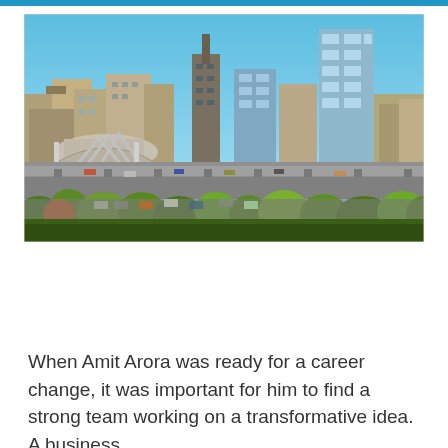[Figure (photo): Aerial view of Atlanta city skyline with skyscrapers, a bridge, elevated highway interchange, and green trees in the foreground under a blue sky.]
When Amit Arora was ready for a career change, it was important for him to find a strong team working on a transformative idea. A business